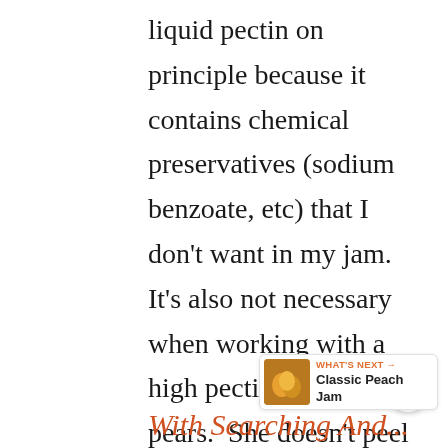liquid pectin on principle because it contains chemical preservatives (sodium benzoate, etc) that I don't want in my jam.  It's also not necessary when working with a high pectin fruit like pears.  She doesn't peel the pears, which is a labor saver, and the jam looks spectacular.  The addition of two scraped vanilla beans is a delectable idea though.
[Figure (other): Share/social button icon (circular white button with share icon)]
[Figure (other): What's Next widget showing Classic Peach Jam with thumbnail image of peach jam jars]
With Searching And...